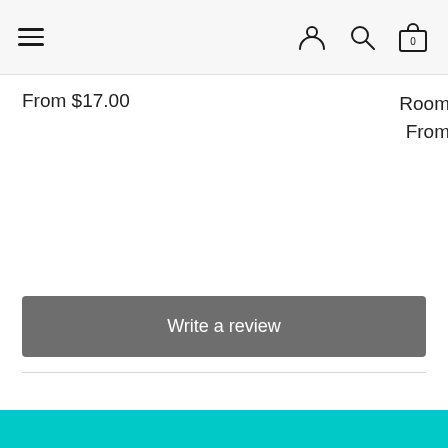Navigation bar with hamburger menu, user icon, search icon, and shopping bag icon (0 items)
From $17.00
Room From
Write a review